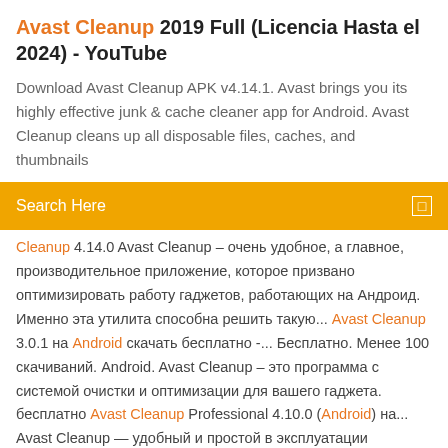Avast Cleanup 2019 Full (Licencia Hasta el 2024) - YouTube
Download Avast Cleanup APK v4.14.1. Avast brings you its highly effective junk & cache cleaner app for Android. Avast Cleanup cleans up all disposable files, caches, and thumbnails
[Figure (screenshot): Orange search bar with 'Search Here' text in white and a small white square icon on the right]
Cleanup 4.14.0 Avast Cleanup – очень удобное, а главное, производительное приложение, которое призвано оптимизировать работу гаджетов, работающих на Андроид. Именно эта утилита способна решить такую... Avast Cleanup 3.0.1 на Android скачать бесплатно -... Бесплатно. Менее 100 скачиваний. Android. Avast Cleanup – это программа с системой очистки и оптимизации для вашего гаджета. бесплатно Avast Cleanup Professional 4.10.0 (Android) на... Avast Cleanup — удобный и простой в эксплуатации инструмент, который позволяет существенно увеличить